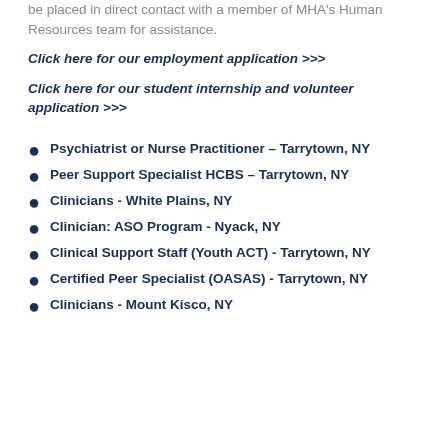be placed in direct contact with a member of MHA's Human Resources team for assistance.
Click here for our employment application >>>
Click here for our student internship and volunteer application >>>
Psychiatrist or Nurse Practitioner – Tarrytown, NY
Peer Support Specialist HCBS – Tarrytown, NY
Clinicians - White Plains, NY
Clinician: ASO Program - Nyack, NY
Clinical Support Staff (Youth ACT) - Tarrytown, NY
Certified Peer Specialist (OASAS) - Tarrytown, NY
Clinicians - Mount Kisco, NY